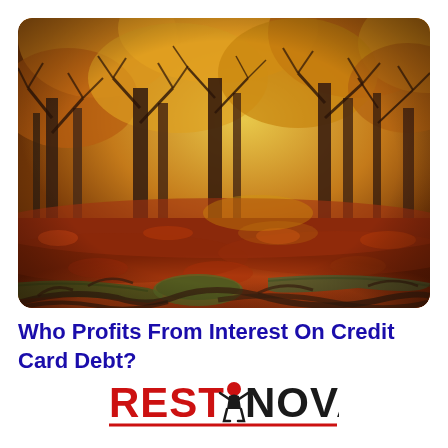[Figure (photo): Autumn forest scene with orange and red fallen leaves covering the ground, bare trees with orange foliage canopy, and moss-covered fallen logs in the foreground. Rounded rectangle crop.]
Who Profits From Interest On Credit Card Debt?
[Figure (logo): RestNova logo: 'REST' in red bold letters, a small figure icon, 'NOVA' in black bold letters, with a red underline beneath the full logo text.]